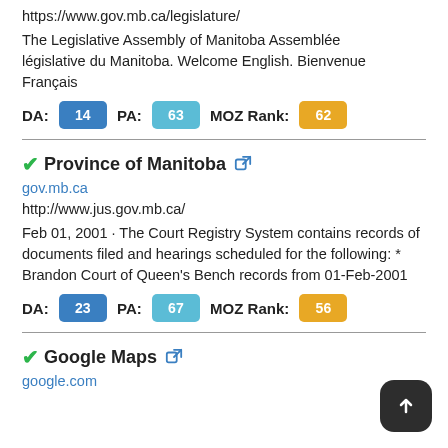https://www.gov.mb.ca/legislature/
The Legislative Assembly of Manitoba Assemblée législative du Manitoba. Welcome English. Bienvenue Français
DA: 14  PA: 63  MOZ Rank: 62
✓Province of Manitoba
gov.mb.ca
http://www.jus.gov.mb.ca/
Feb 01, 2001 · The Court Registry System contains records of documents filed and hearings scheduled for the following: * Brandon Court of Queen's Bench records from 01-Feb-2001
DA: 23  PA: 67  MOZ Rank: 56
✓Google Maps
google.com